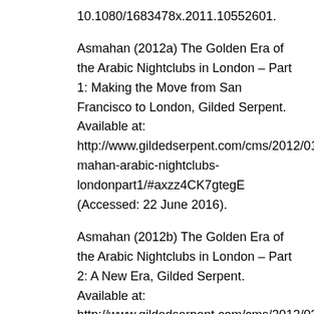10.1080/1683478x.2011.10552601.
Asmahan (2012a) The Golden Era of the Arabic Nightclubs in London – Part 1: Making the Move from San Francisco to London, Gilded Serpent. Available at: http://www.gildedserpent.com/cms/2012/01/15/asmahan-arabic-nightclubs-londonpart1/#axzz4CK7gtegE (Accessed: 22 June 2016).
Asmahan (2012b) The Golden Era of the Arabic Nightclubs in London – Part 2: A New Era, Gilded Serpent. Available at: http://www.gildedserpent.com/cms/2012/03/09/asmahangolden-era-arab-nightclubs-london-p2/#axzz4CK7gtegE (Accessed: 22 June 2016).